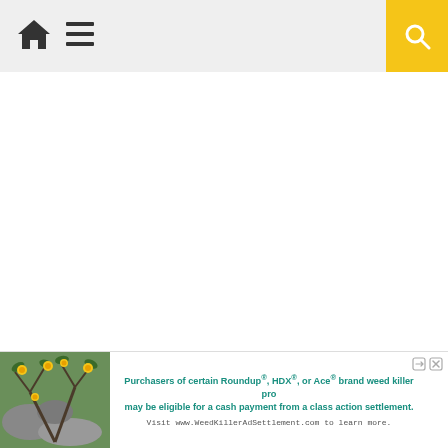Navigation bar with home icon, menu icon, and search button
[Figure (screenshot): Blank white main content area of a webpage]
[Figure (other): Dropdown chevron button (down arrow) at bottom left]
[Figure (other): Advertisement banner: image of plant with yellow flowers on left; text reads 'Purchasers of certain Roundup®, HDX®, or Ace® brand weed killer products may be eligible for a cash payment from a class action settlement. Visit www.WeedKillerAdSettlement.com to learn more.' with close/external link icons at top right]